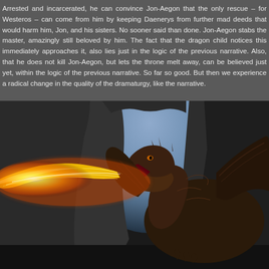Arrested and incarcerated, he can convince Jon-Aegon that the only rescue – for Westeros – can come from him by keeping Daenerys from further mad deeds that would harm him, Jon, and his sisters. No sooner said than done. Jon-Aegon stabs the master, amazingly still beloved by him. The fact that the dragon child notices this immediately approaches it, also lies just in the logic of the previous narrative. Also, that he does not kill Jon-Aegon, but lets the throne melt away, can be believed just yet, within the logic of the previous narrative. So far so good. But then we experience a radical change in the quality of the dramaturgy, like the narrative.
[Figure (photo): A dragon breathing fire, shown in profile from the right side, with large wings spread. The dragon appears dark brown/black with an open mouth emitting bright orange and yellow flames toward the left. The background shows a dark rocky arch or cave opening with a bluish-grey sky visible.]